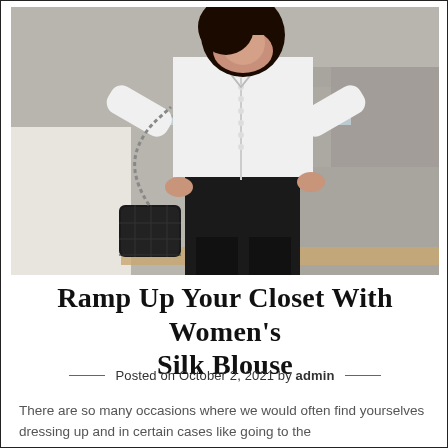[Figure (photo): A woman wearing a white silk blouse with small buttons down the front and black trousers, posing with hands on hips. She carries a black quilted chain-strap handbag. Background shows a glass railing and stone tiles.]
Ramp Up Your Closet With Women’s Silk Blouse
Posted on October 2, 2021 by admin
There are so many occasions where we would often find yourselves dressing up and in certain cases like going to the